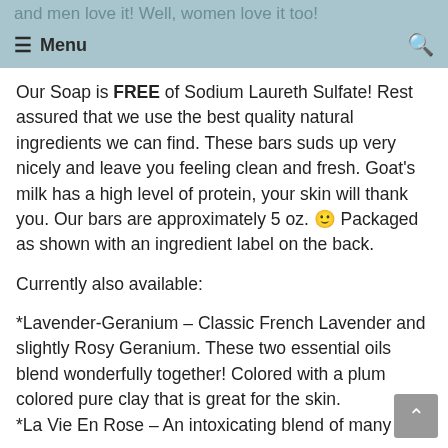and men love it! Well, women love it too!
≡ Menu
Our Soap is FREE of Sodium Laureth Sulfate! Rest assured that we use the best quality natural ingredients we can find. These bars suds up very nicely and leave you feeling clean and fresh. Goat's milk has a high level of protein, your skin will thank you. Our bars are approximately 5 oz. 🙂 Packaged as shown with an ingredient label on the back.
Currently also available:
*Lavender-Geranium – Classic French Lavender and slightly Rosy Geranium. These two essential oils blend wonderfully together! Colored with a plum colored pure clay that is great for the skin.
*La Vie En Rose – An intoxicating blend of many